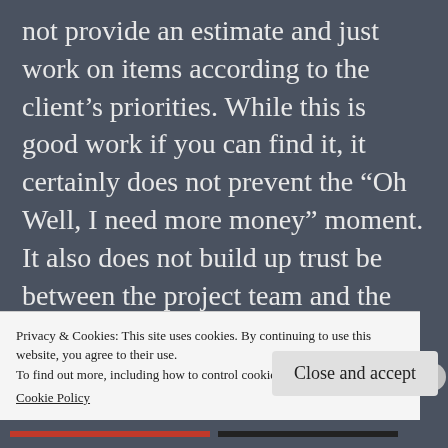not provide an estimate and just work on items according to the client's priorities. While this is good work if you can find it, it certainly does not prevent the “Oh Well, I need more money” moment. It also does not build up trust be between the project team and the client. If anything, repeated incidents like this will diminish the level of trust and may force the client into a more traditional approach. Agile teams must remember that even if we operate it an Agile manner, the clients need to request
Privacy & Cookies: This site uses cookies. By continuing to use this website, you agree to their use.
To find out more, including how to control cookies, see here: Cookie Policy
Close and accept